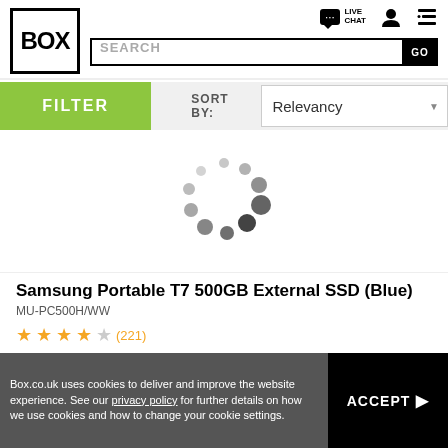[Figure (logo): BOX logo in a black square border]
[Figure (infographic): Live Chat icon, person icon, cart icon, and menu hamburger icon in header]
SEARCH
FILTER
SORT BY: Relevancy
[Figure (infographic): Loading spinner animation dots in circular arrangement]
Samsung Portable T7 500GB External SSD (Blue)
MU-PC500H/WW
★★★★☆ (221)
500GB Capacity
USB 3.2 Gen 2 Interface
External Drive Form Factor
Read/Write Speeds Up To 1050/1000MB/s
3 Year Manufacturer Warranty
MU-PC500H/WW
Box.co.uk uses cookies to deliver and improve the website experience. See our privacy policy for further details on how we use cookies and how to change your cookie settings.
ACCEPT ▶